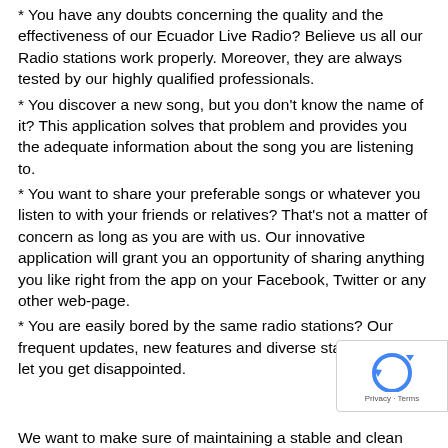* You have any doubts concerning the quality and the effectiveness of our Ecuador Live Radio? Believe us all our Radio stations work properly. Moreover, they are always tested by our highly qualified professionals.
* You discover a new song, but you don't know the name of it? This application solves that problem and provides you the adequate information about the song you are listening to.
* You want to share your preferable songs or whatever you listen to with your friends or relatives? That's not a matter of concern as long as you are with us. Our innovative application will grant you an opportunity of sharing anything you like right from the app on your Facebook, Twitter or any other web-page.
* You are easily bored by the same radio stations? Our frequent updates, new features and diverse stations will not let you get disappointed.
We want to make sure of maintaining a stable and clean